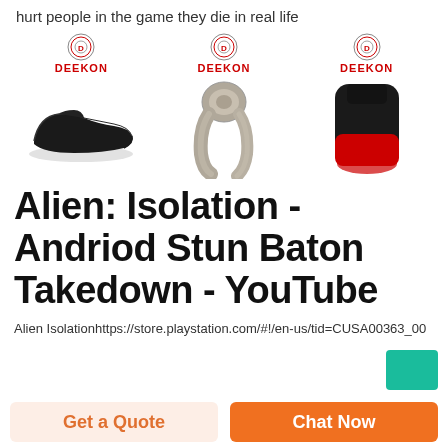hurt people in the game they die in real life
[Figure (photo): Three product images with DEEKON logo: a black dress shoe, a gray scarf, and a black/red boot/ankle support]
Alien: Isolation - Andriod Stun Baton Takedown - YouTube
Alien Isolationhttps://store.playstation.com/#!/en-us/tid=CUSA00363_00